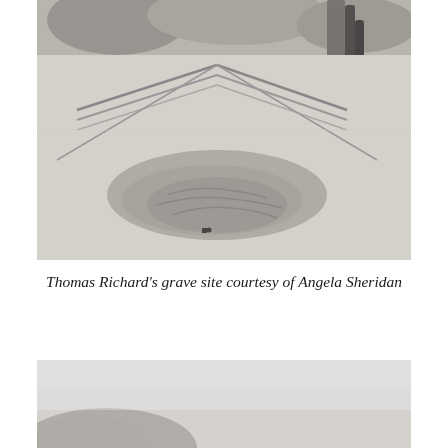[Figure (photo): Black and white photograph of Thomas Richard's grave site, showing a sandy or dirt ground with a triangular or peaked grave marker/mound, trees and foliage visible in the background, and a person partially visible on the right side.]
Thomas Richard's grave site courtesy of Angela Sheridan
[Figure (photo): Partial black and white photograph showing a landscape scene, bottom portion of the page, with a rocky or hilly formation visible at lower left and hazy background.]